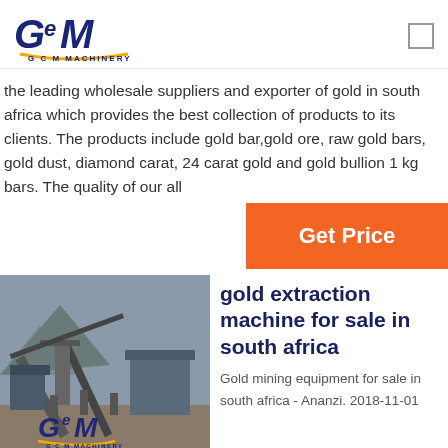GCM MACHINERY
the leading wholesale suppliers and exporter of gold in south africa which provides the best collection of products to its clients. The products include gold bar,gold ore, raw gold bars, gold dust, diamond carat, 24 carat gold and gold bullion 1 kg bars. The quality of our all
Get Price
[Figure (photo): Industrial gold extraction machinery/plant with conveyor belts and large equipment structures, with GCM Machinery logo overlay]
gold extraction machine for sale in south africa
Gold mining equipment for sale in south africa - Ananzi. 2018-11-01